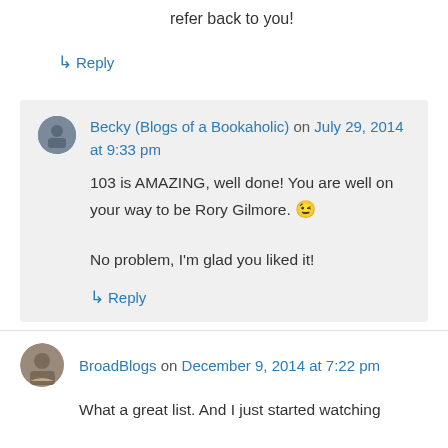refer back to you!
↳ Reply
Becky (Blogs of a Bookaholic) on July 29, 2014 at 9:33 pm
103 is AMAZING, well done! You are well on your way to be Rory Gilmore. 😉

No problem, I'm glad you liked it!
↳ Reply
BroadBlogs on December 9, 2014 at 7:22 pm
What a great list. And I just started watching